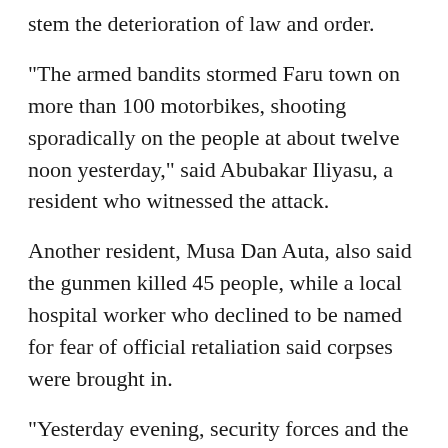stem the deterioration of law and order.
"The armed bandits stormed Faru town on more than 100 motorbikes, shooting sporadically on the people at about twelve noon yesterday," said Abubakar Iliyasu, a resident who witnessed the attack.
Another resident, Musa Dan Auta, also said the gunmen killed 45 people, while a local hospital worker who declined to be named for fear of official retaliation said corpses were brought in.
"Yesterday evening, security forces and the local militia vigilantes brought 29 dead bodies and 11 other injured people into the hospital," the worker said.
Raids, killings and mass kidnappings for ransom, particularly of school children, have become commonplace in northwest Nigeria.
The rampant violence has sparked concerns that the region is fallow ground for extremist groups to move in